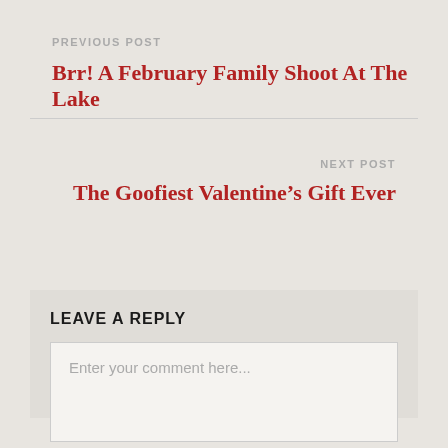PREVIOUS POST
Brr! A February Family Shoot At The Lake
NEXT POST
The Goofiest Valentine’s Gift Ever
LEAVE A REPLY
Enter your comment here...